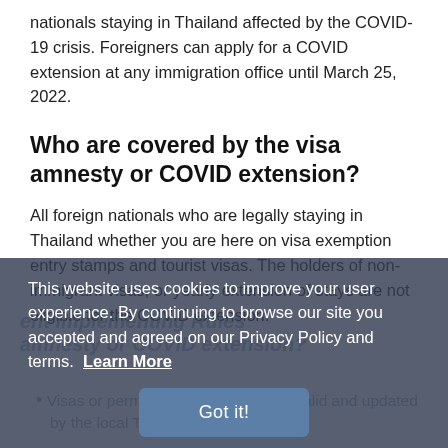nationals staying in Thailand affected by the COVID-19 crisis. Foreigners can apply for a COVID extension at any immigration office until March 25, 2022.
Who are covered by the visa amnesty or COVID extension?
All foreign nationals who are legally staying in Thailand whether you are here on visa exemption entry stamps and tourist visas. The holders of non-immigrant visas, or yearly extension of stays are not eligible for the COVID extension.
This website uses cookies to improve your user experience. By continuing to browse our site you accepted and agreed on our Privacy Policy and terms.  Learn More
Got it!
ent Implementing Rules amnesty or COVID extension?
Visas or permits to stay that are still valid and updated by the local Thai immigration office.